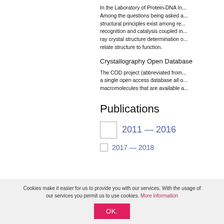In the Laboratory of Protein-DNA In... Among the questions being asked a... structural principles exist among re... recognition and catalysis coupled in... ray crystal structure determination o... relate structure to function.
Crystallography Open Database
The COD project (abbreviated from... a single open access database all o... macromolecules that are available a...
Publications
2011 — 2016
2017 — 2018
Cookies make it easier for us to provide you with our services. With the usage of our services you permit us to use cookies. More information